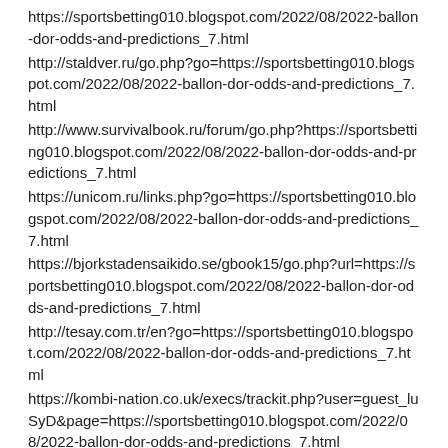https://sportsbetting010.blogspot.com/2022/08/2022-ballon-dor-odds-and-predictions_7.html
http://staldver.ru/go.php?go=https://sportsbetting010.blogspot.com/2022/08/2022-ballon-dor-odds-and-predictions_7.html
http://www.survivalbook.ru/forum/go.php?https://sportsbetting010.blogspot.com/2022/08/2022-ballon-dor-odds-and-predictions_7.html
https://unicom.ru/links.php?go=https://sportsbetting010.blogspot.com/2022/08/2022-ballon-dor-odds-and-predictions_7.html
https://bjorkstadensaikido.se/gbook15/go.php?url=https://sportsbetting010.blogspot.com/2022/08/2022-ballon-dor-odds-and-predictions_7.html
http://tesay.com.tr/en?go=https://sportsbetting010.blogspot.com/2022/08/2022-ballon-dor-odds-and-predictions_7.html
https://kombi-nation.co.uk/execs/trackit.php?user=guest_luSyD&page=https://sportsbetting010.blogspot.com/2022/08/2022-ballon-dor-odds-and-predictions_7.html